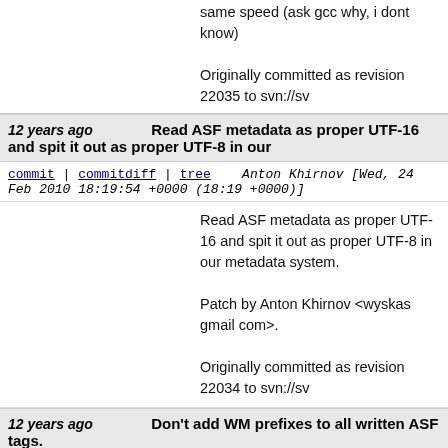same speed (ask gcc why, i dont know)

Originally committed as revision 22035 to svn://sv
12 years ago   Read ASF metadata as proper UTF-16 and spit it out as proper UTF-8 in our
commit | commitdiff | tree   Anton Khirnov [Wed, 24 Feb 2010 18:19:54 +0000 (18:19 +0000)]
Read ASF metadata as proper UTF-16 and spit it out as proper UTF-8 in our metadata system.

Patch by Anton Khirnov <wyskas gmail com>.

Originally committed as revision 22034 to svn://sv
12 years ago   Don't add WM prefixes to all written ASF tags.
commit | commitdiff | tree   Anton Khirnov [Wed, 24 Feb 2010 18:17:32 +0000 (18:17 +0000)]
Don't add WM prefixes to all written ASF tags.

Patch by Anton Khirnov <wyskas gmail com>.

Originally committed as revision 22033 to svn://sv